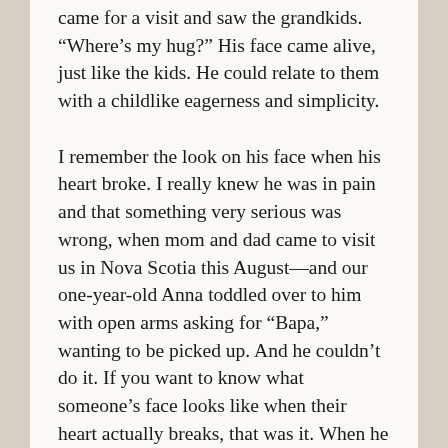came for a visit and saw the grandkids. “Where’s my hug?” His face came alive, just like the kids. He could relate to them with a childlike eagerness and simplicity.
I remember the look on his face when his heart broke. I really knew he was in pain and that something very serious was wrong, when mom and dad came to visit us in Nova Scotia this August—and our one-year-old Anna toddled over to him with open arms asking for “Bapa,” wanting to be picked up. And he couldn’t do it. If you want to know what someone’s face looks like when their heart actually breaks, that was it. When he could no longer bend over and pick up his little Anna.